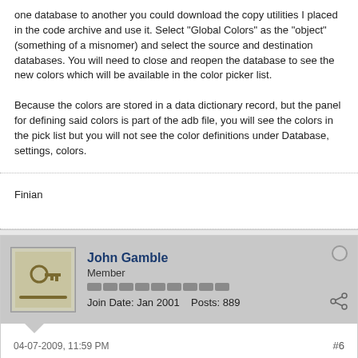one database to another you could download the copy utilities I placed in the code archive and use it. Select "Global Colors" as the "object" (something of a misnomer) and select the source and destination databases. You will need to close and reopen the database to see the new colors which will be available in the color picker list.
Because the colors are stored in a data dictionary record, but the panel for defining said colors is part of the adb file, you will see the colors in the pick list but you will not see the color definitions under Database, settings, colors.
Finian
John Gamble
Member
Join Date: Jan 2001    Posts: 889
04-07-2009, 11:59 PM
#6
Re: Database Colours
To: & Finian